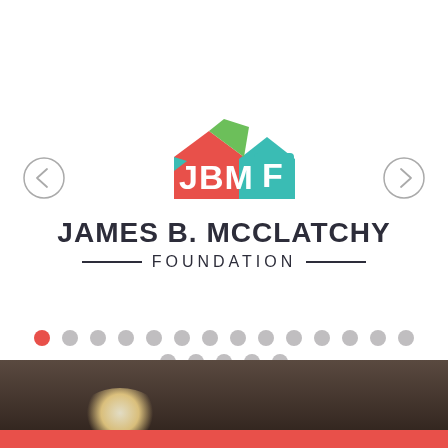[Figure (logo): James B. McClatchy Foundation logo with colorful geometric building/house shapes in red, teal, green above the text JAMES B. MCCLATCHY FOUNDATION]
[Figure (other): Slideshow navigation dots, first dot active (red), rest gray, arranged in two rows]
[Figure (photo): Dark interior photograph with a glowing light source visible, pink/red banner overlay at the bottom]